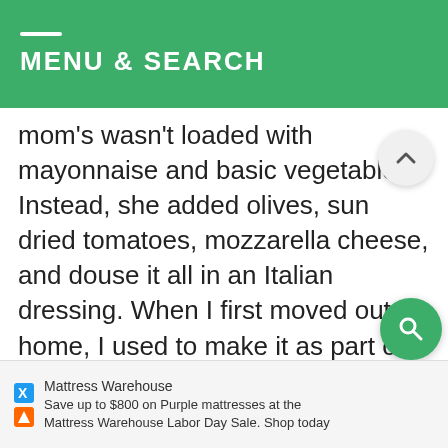MENU & SEARCH
mom's wasn't loaded with mayonnaise and basic vegetables. Instead, she added olives, sun dried tomatoes, mozzarella cheese, and douse it all in an Italian dressing. When I first moved out of home, I used to make it as part of my weekly meal prep. Since going keto, it's been my mission to recreate it!
I've been meaning to share a keto pasta salad recipe for quite some time. Ever since I had access to a delicious keto macaroni style pasta, I've been using it in anything and everything. This Italian pasta salad is great as an appetizer, side d
Mattress Warehouse
Save up to $800 on Purple mattresses at the Mattress Warehouse Labor Day Sale. Shop today